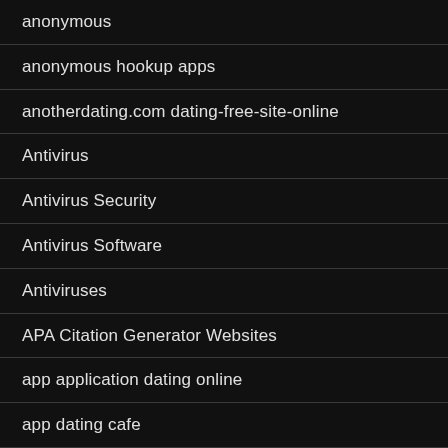anonymous
anonymous hookup apps
anotherdating.com dating-free-site-online
Antivirus
Antivirus Security
Antivirus Software
Antiviruses
APA Citation Generator Websites
app application dating online
app dating cafe
Approved Cash Home Office
approved cash search
Are Mail Order Brides Legal